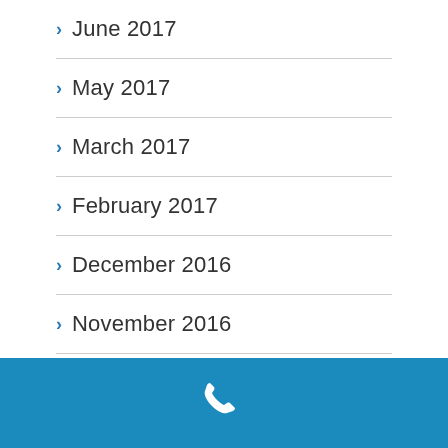> June 2017
> May 2017
> March 2017
> February 2017
> December 2016
> November 2016
> October 2016
> August 2016
[Figure (illustration): White phone handset icon on blue background footer bar]